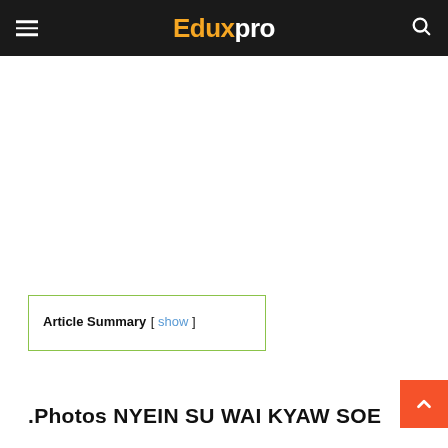Eduxpro
Article Summary [ show ]
.Photos NYEIN SU WAI KYAW SOE